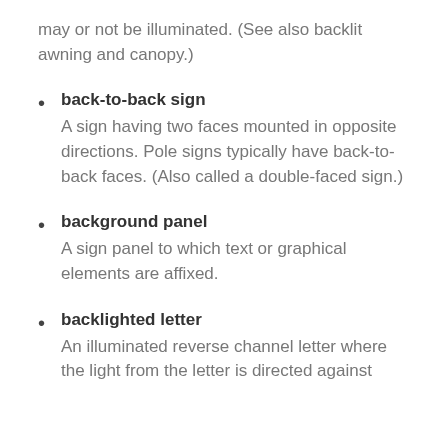may or not be illuminated. (See also backlit awning and canopy.)
back-to-back sign
A sign having two faces mounted in opposite directions. Pole signs typically have back-to-back faces. (Also called a double-faced sign.)
background panel
A sign panel to which text or graphical elements are affixed.
backlighted letter
An illuminated reverse channel letter where the light from the letter is directed against